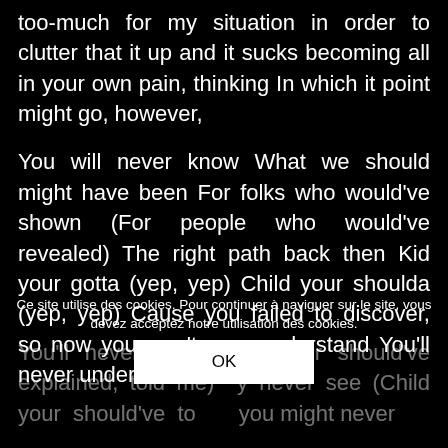too-much for my situation in order to clutter that it up and it sucks becoming all in your own pain, thinking In which it point might go, however,
You will never know What we should might have been For folks who would've shown (For people who would've revealed) The right path back then Kid your gotta (yep, yep) Child your shoulda (yep, yep) Cause you failed to discover, so now you won't ever understand You'll never understand
You'll never see (Boy, your should've explained, told me) y never see (Child your should've told me) you might never
Ce site utilise des cookies. Pour continuer à naviguer sur le site, vous devez acceptez notre utilisation des cookies.
OK